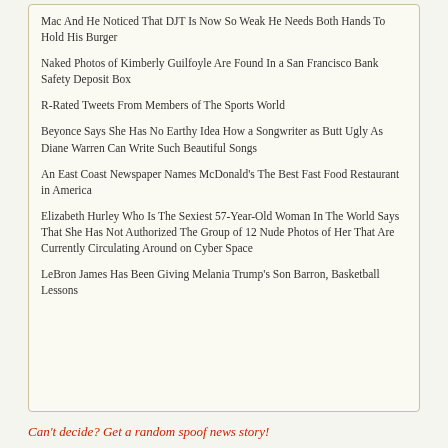Mac And He Noticed That DJT Is Now So Weak He Needs Both Hands To Hold His Burger
Naked Photos of Kimberly Guilfoyle Are Found In a San Francisco Bank Safety Deposit Box
R-Rated Tweets From Members of The Sports World
Beyonce Says She Has No Earthy Idea How a Songwriter as Butt Ugly As Diane Warren Can Write Such Beautiful Songs
An East Coast Newspaper Names McDonald's The Best Fast Food Restaurant in America
Elizabeth Hurley Who Is The Sexiest 57-Year-Old Woman In The World Says That She Has Not Authorized The Group of 12 Nude Photos of Her That Are Currently Circulating Around on Cyber Space
LeBron James Has Been Giving Melania Trump's Son Barron, Basketball Lessons
Can't decide? Get a random spoof news story!